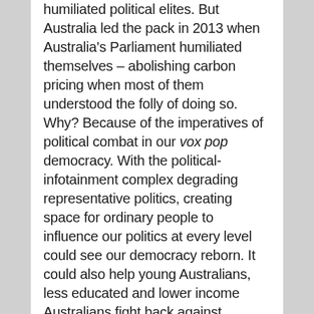humiliated political elites. But Australia led the pack in 2013 when Australia's Parliament humiliated themselves – abolishing carbon pricing when most of them understood the folly of doing so. Why? Because of the imperatives of political combat in our vox pop democracy. With the political-infotainment complex degrading representative politics, creating space for ordinary people to influence our politics at every level could see our democracy reborn. It could also help young Australians, less educated and lower income Australians fight back against political eclipse by older generations.
Detoxing democracy: Brexit and the considered will of the British people